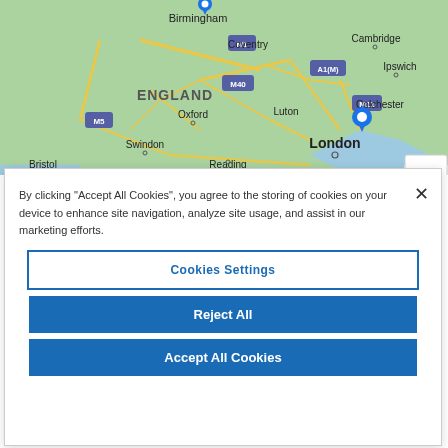[Figure (map): Google Maps screenshot showing England with cities labeled: Birmingham (with blue pin), Coventry, Cambridge, Ipswich, Colchester (with blue pin), Oxford, Luton, London, Swindon, Bristol, Reading. Motorways labeled: M1, M5, M40, A1(M), M11. Map controls showing + and - zoom buttons.]
By clicking “Accept All Cookies”, you agree to the storing of cookies on your device to enhance site navigation, analyze site usage, and assist in our marketing efforts.
Cookies Settings
Reject All
Accept All Cookies